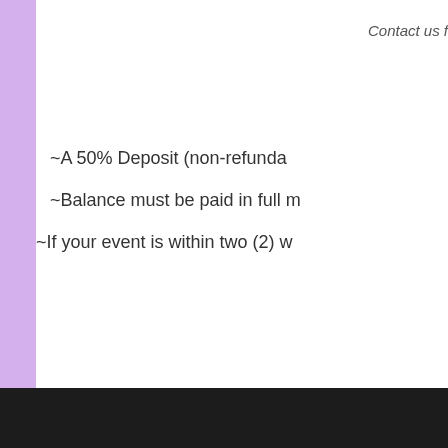Contact us f
~A 50% Deposit (non-refunda
~Balance must be paid in full m
~If your event is within two (2) w
Click bel
Showers   Weddings   Birt
An Amazing Affair    Philadelphia,